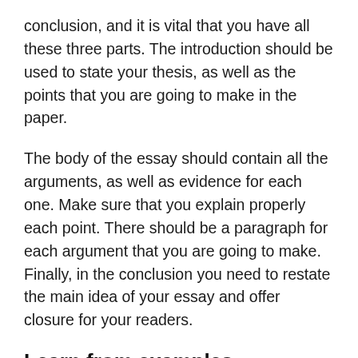conclusion, and it is vital that you have all these three parts. The introduction should be used to state your thesis, as well as the points that you are going to make in the paper.
The body of the essay should contain all the arguments, as well as evidence for each one. Make sure that you explain properly each point. There should be a paragraph for each argument that you are going to make. Finally, in the conclusion you need to restate the main idea of your essay and offer closure for your readers.
Learn from examples
Reading other students' essay papers can provide you the inspiration that you need. There are plenty of online databases that you can use for this. It is always